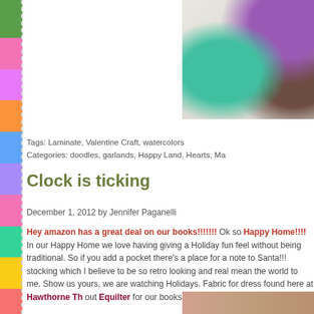[Figure (photo): Partial photo showing craft supplies including teal/turquoise paper decoration and purple paint containers on a white surface]
Tags: Laminate, Valentine Craft, watercolors
Categories: doodles, garlands, Happy Land, Hearts, Ma...
Clock is ticking
December 1, 2012 by Jennifer Paganelli
Hey amazon has a great deal on our books!!!!!!!  Ok so... Happy Home!!!!  In our Happy Home we love having giving a Holiday fun feel without being traditional.  So if you add a pocket there's a place for a note to Santa!!! stocking which I believe to be so retro looking and real... mean the world to me.  Show us yours, we are watching... Holidays.  Fabric for dress found here at Hawthorne Th... out Equilter for our books and rare finds!!
[Figure (photo): Bottom thumbnail photo, partially visible]